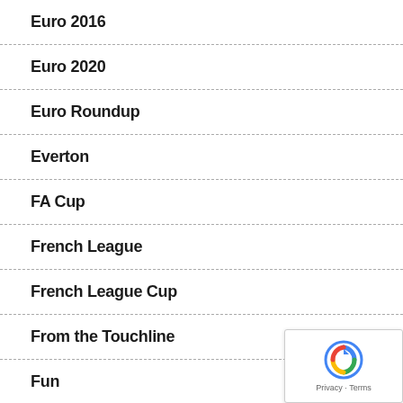Euro 2016
Euro 2020
Euro Roundup
Everton
FA Cup
French League
French League Cup
From the Touchline
Fun
History